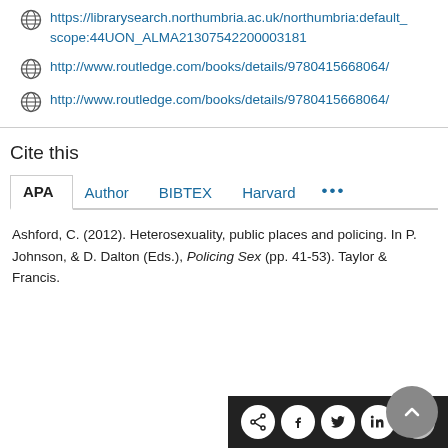https://librarysearch.northumbria.ac.uk/northumbria:default_scope:44UON_ALMA21307542200003181
http://www.routledge.com/books/details/9780415668064/
http://www.routledge.com/books/details/9780415668064/
Cite this
APA  Author  BIBTEX  Harvard  ...
Ashford, C. (2012). Heterosexuality, public places and policing. In P. Johnson, & D. Dalton (Eds.), Policing Sex (pp. 41-53). Taylor & Francis.